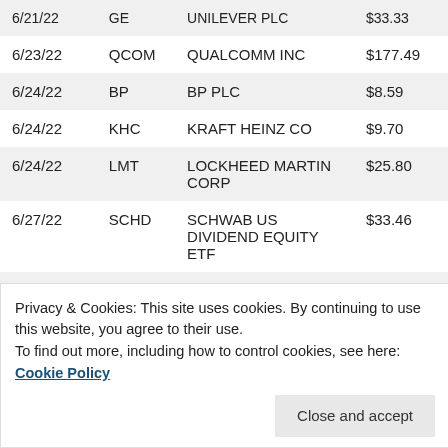| Date | Ticker | Name | Price |
| --- | --- | --- | --- |
| 6/21/22 | GE | UNILEVER PLC | $33.33 |
| 6/23/22 | QCOM | QUALCOMM INC | $177.49 |
| 6/24/22 | BP | BP PLC | $8.59 |
| 6/24/22 | KHC | KRAFT HEINZ CO | $9.70 |
| 6/24/22 | LMT | LOCKHEED MARTIN CORP | $25.80 |
| 6/27/22 | SCHD | SCHWAB US DIVIDEND EQUITY ETF | $33.46 |
| 6/28/22 | NUSI | ETF SER SOLUTIONS NATIONWIDE NASDQ | $15.93 |
| 6/29/22 | TROW | PRICE T ROWE | $25.14 |
Privacy & Cookies: This site uses cookies. By continuing to use this website, you agree to their use.
To find out more, including how to control cookies, see here: Cookie Policy